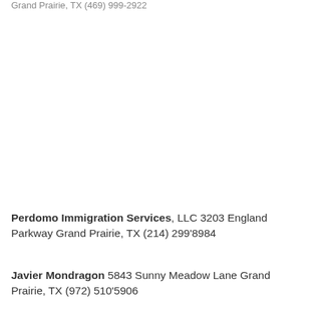Grand Prairie, TX (469) 999-2922
Perdomo Immigration Services, LLC 3203 England Parkway Grand Prairie, TX (214) 299'8984
Javier Mondragon 5843 Sunny Meadow Lane Grand Prairie, TX (972) 510'5906